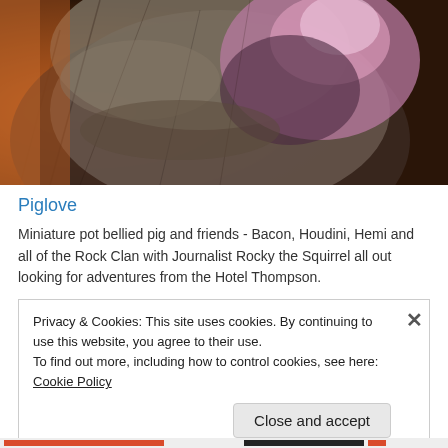[Figure (photo): Close-up photo of a pig's snout and face, showing fur with orange/brown and purple-gray tones]
Piglove
Miniature pot bellied pig and friends - Bacon, Houdini, Hemi and all of the Rock Clan with Journalist Rocky the Squirrel all out looking for adventures from the Hotel Thompson.
Privacy & Cookies: This site uses cookies. By continuing to use this website, you agree to their use.
To find out more, including how to control cookies, see here: Cookie Policy

Close and accept